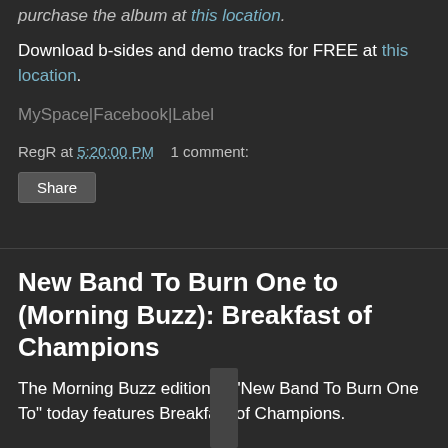purchase the album at this location.
Download b-sides and demo tracks for FREE at this location.
MySpace|Facebook|Label
RegR at 5:20:00 PM    1 comment:
Share
New Band To Burn One to (Morning Buzz): Breakfast of Champions
The Morning Buzz edition of "New Band To Burn One To" today features Breakfast of Champions.